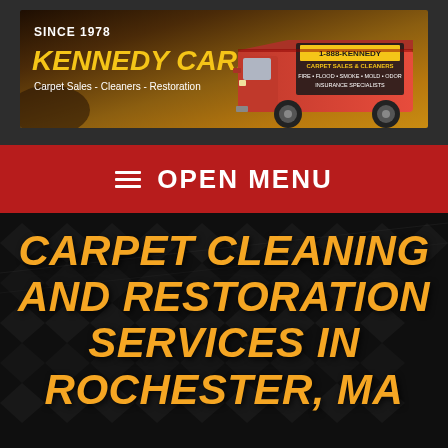[Figure (logo): Kennedy Carpet banner logo with red van. Shows 'SINCE 1978', 'KENNEDY CARPET' in yellow italic text, 'Carpet Sales - Cleaners - Restoration' in white, and a red service van with '1-888-KENNEDY' phone number and service details on the right side. Background is a brown/gold gradient.]
≡  OPEN MENU
CARPET CLEANING AND RESTORATION SERVICES IN ROCHESTER, MA